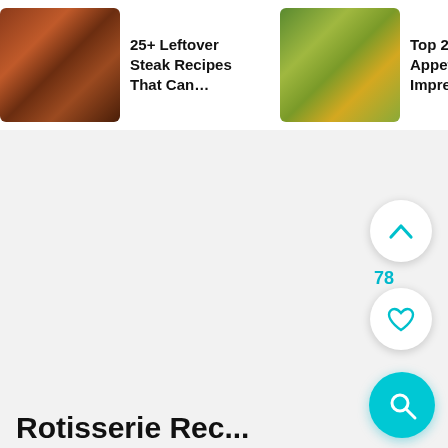[Figure (screenshot): Food recipe website screenshot showing a horizontal carousel of recipe cards at the top. Three cards visible: '25+ Leftover Steak Recipes That Can...', 'Top 22 Thai Appetizers To Impress You...', '28+ Incred... Potluc... Desserts T...'. Below is a light gray content area with floating UI buttons on the right: an up-chevron button, a count of 78, a heart/favorite button, and a cyan search button. At the bottom is a partially visible bold section title.]